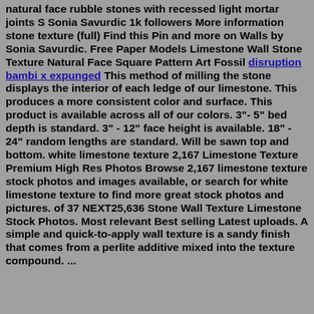natural face rubble stones with recessed light mortar joints S Sonia Savurdic 1k followers More information stone texture (full) Find this Pin and more on Walls by Sonia Savurdic. Free Paper Models Limestone Wall Stone Texture Natural Face Square Pattern Art Fossil disruption bambi x expunged This method of milling the stone displays the interior of each ledge of our limestone. This produces a more consistent color and surface. This product is available across all of our colors. 3"- 5" bed depth is standard. 3" - 12" face height is available. 18" - 24" random lengths are standard. Will be sawn top and bottom. white limestone texture 2,167 Limestone Texture Premium High Res Photos Browse 2,167 limestone texture stock photos and images available, or search for white limestone texture to find more great stock photos and pictures. of 37 NEXT25,636 Stone Wall Texture Limestone Stock Photos. Most relevant Best selling Latest uploads. A simple and quick-to-apply wall texture is a sandy finish that comes from a perlite additive mixed into the texture compound. ...